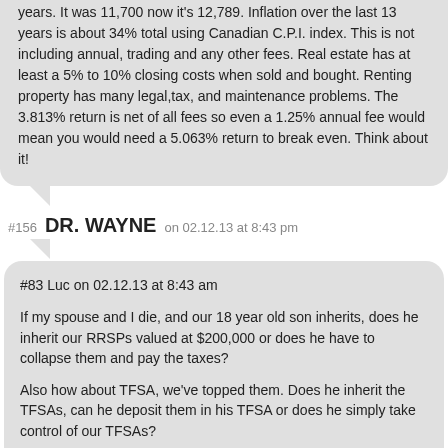years. It was 11,700 now it's 12,789. Inflation over the last 13 years is about 34% total using Canadian C.P.I. index. This is not including annual, trading and any other fees. Real estate has at least a 5% to 10% closing costs when sold and bought. Renting property has many legal,tax, and maintenance problems. The 3.813% return is net of all fees so even a 1.25% annual fee would mean you would need a 5.063% return to break even. Think about it!
#156 DR. WAYNE on 02.12.13 at 8:43 pm
#83 Luc on 02.12.13 at 8:43 am

If my spouse and I die, and our 18 year old son inherits, does he inherit our RRSPs valued at $200,000 or does he have to collapse them and pay the taxes?

Also how about TFSA, we've topped them. Does he inherit the TFSAs, can he deposit them in his TFSA or does he simply take control of our TFSAs?

Great post Garth, very practical.